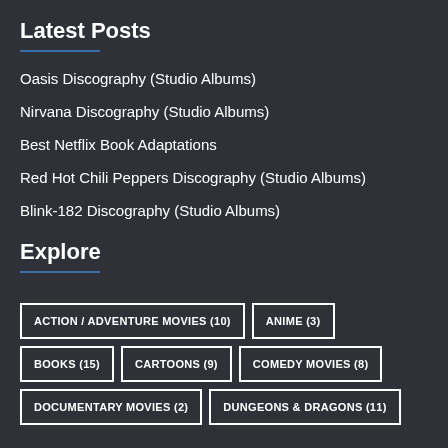Latest Posts
Oasis Discography (Studio Albums)
Nirvana Discography (Studio Albums)
Best Netflix Book Adaptations
Red Hot Chili Peppers Discography (Studio Albums)
Blink-182 Discography (Studio Albums)
Explore
ACTION / ADVENTURE MOVIES (10)
ANIME (3)
BOOKS (15)
CARTOONS (9)
COMEDY MOVIES (8)
DOCUMENTARY MOVIES (2)
DUNGEONS & DRAGONS (11)